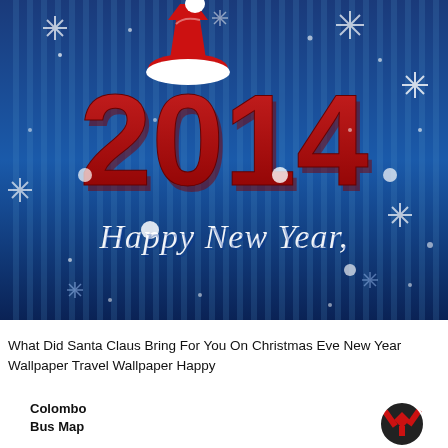[Figure (illustration): New Year 2014 greeting card illustration. Blue background with vertical stripe pattern and snowflakes. Large bold red 3D numerals '2014' with a Santa Claus hat placed on top of the '0'. Below the numerals, cursive white text reads 'Happy New Year'. White snow dots and decorative snowflakes scattered throughout.]
What Did Santa Claus Bring For You On Christmas Eve New Year Wallpaper Travel Wallpaper Happy
[Figure (logo): Partial view of a Colombo Bus Map graphic with bold text 'Colombo Bus Map' on the left and a red/white/black circular logo icon on the right.]